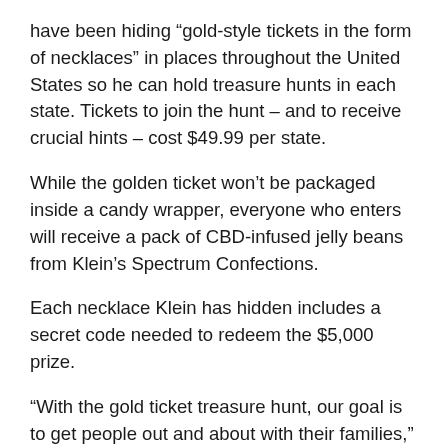have been hiding “gold-style tickets in the form of necklaces” in places throughout the United States so he can hold treasure hunts in each state. Tickets to join the hunt – and to receive crucial hints – cost $49.99 per state.
While the golden ticket won’t be packaged inside a candy wrapper, everyone who enters will receive a pack of CBD-infused jelly beans from Klein’s Spectrum Confections.
Each necklace Klein has hidden includes a secret code needed to redeem the $5,000 prize.
“With the gold ticket treasure hunt, our goal is to get people out and about with their families,” Klein said in a written statement. “Grandma and grandpa can even join with the kids and grandkids.”